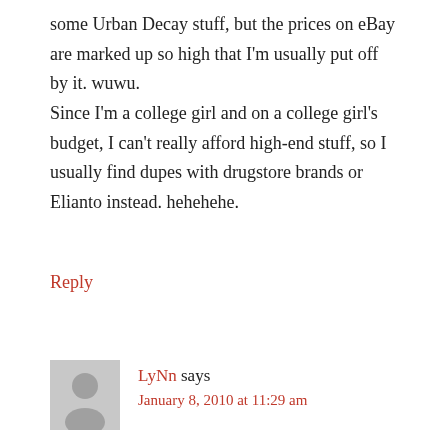some Urban Decay stuff, but the prices on eBay are marked up so high that I'm usually put off by it. wuwu. Since I'm a college girl and on a college girl's budget, I can't really afford high-end stuff, so I usually find dupes with drugstore brands or Elianto instead. hehehehe.
Reply
LyNn says
January 8, 2010 at 11:29 am